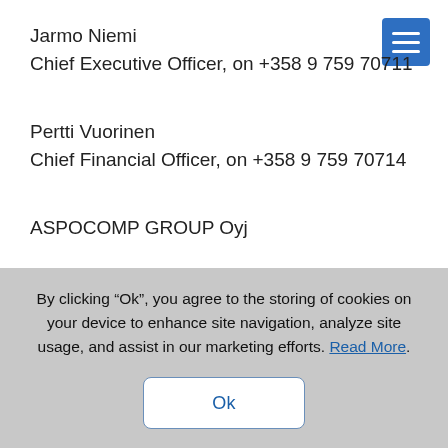Jarmo Niemi
Chief Executive Officer, on +358 9 759 70711
Pertti Vuorinen
Chief Financial Officer, on +358 9 759 70714
ASPOCOMP GROUP Oyj
Jarmo Niemi
President and CEO
Distribution:
By clicking “Ok”, you agree to the storing of cookies on your device to enhance site navigation, analyze site usage, and assist in our marketing efforts. Read More.
Ok